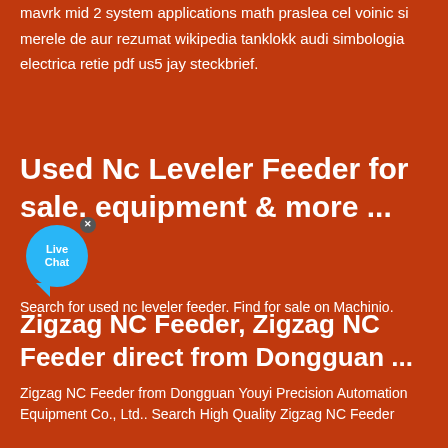mavrk mid 2 system applications math praslea cel voinic si merele de aur rezumat wikipedia tanklokk audi simbologia electrica retie pdf us5 jay steckbrief.
Used Nc Leveler Feeder for sale. equipment & more ...
Search for used nc leveler feeder. Find for sale on Machinio.
Zigzag NC Feeder, Zigzag NC Feeder direct from Dongguan ...
Zigzag NC Feeder from Dongguan Youyi Precision Automation Equipment Co., Ltd.. Search High Quality Zigzag NC Feeder